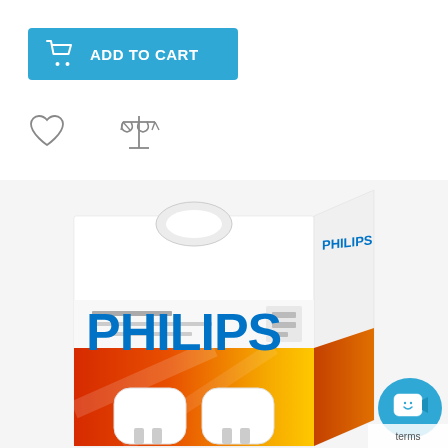[Figure (screenshot): Add to Cart button — blue rectangle with shopping cart icon and text ADD TO CART in white]
[Figure (illustration): Heart icon (wishlist) and balance/compare scales icon side by side]
[Figure (photo): Philips product box with blue PHILIPS branding on white/orange packaging, two white plug-in night light devices visible at the bottom of the box. A chat widget with smiley face icon and a terms bar visible in bottom-right corner.]